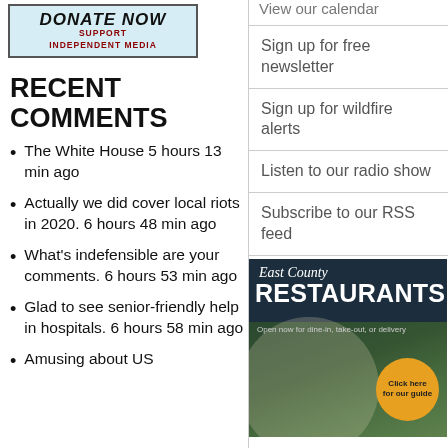[Figure (other): Donate Now - Support Independent Media banner button]
RECENT COMMENTS
The White House 5 hours 13 min ago
Actually we did cover local riots in 2020. 6 hours 48 min ago
What's indefensible are your comments. 6 hours 53 min ago
Glad to see senior-friendly help in hospitals. 6 hours 58 min ago
Amusing about US
View our calendar
Sign up for free newsletter
Sign up for wildfire alerts
Listen to our radio show
Subscribe to our RSS feed
[Figure (illustration): East County Restaurants - Open now for dine-in, take-out, or delivery. Click here for our guide.]